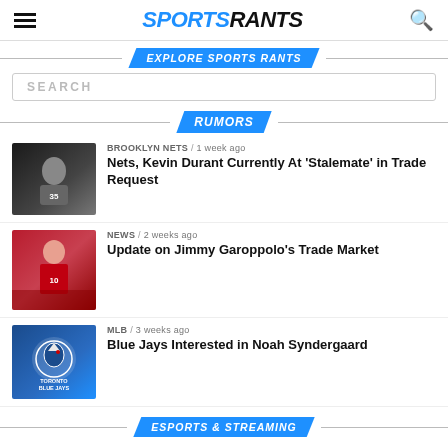SPORTS RANTS
EXPLORE SPORTS RANTS
SEARCH
RUMORS
[Figure (photo): Kevin Durant Brooklyn Nets player photo in black and white arena background]
BROOKLYN NETS / 1 week ago
Nets, Kevin Durant Currently At ‘Stalemate’ in Trade Request
[Figure (photo): Jimmy Garoppolo San Francisco 49ers quarterback photo with red stadium background]
NEWS / 2 weeks ago
Update on Jimmy Garoppolo’s Trade Market
[Figure (logo): Toronto Blue Jays logo on blue stadium background]
MLB / 3 weeks ago
Blue Jays Interested in Noah Syndergaard
ESPORTS & STREAMING